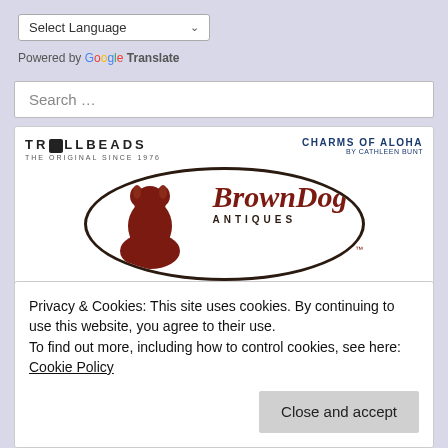Select Language
Powered by Google Translate
Search …
[Figure (logo): Brown Dog Antiques logo with Trollbeads and Charms of Aloha branding. Shows a brown dog silhouette inside an oval, with 'BrownDog Antiques' in script and sans-serif text.]
Privacy & Cookies: This site uses cookies. By continuing to use this website, you agree to their use.
To find out more, including how to control cookies, see here: Cookie Policy
Close and accept